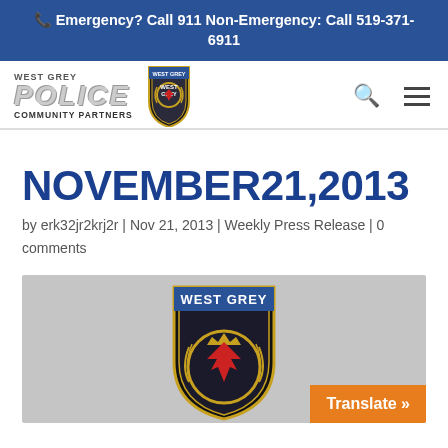Emergency? Call 911 Non-Emergency: Call 519-371-6911
[Figure (logo): West Grey Police Community Partners logo with badge]
NOVEMBER21,2013
by erk32jr2krj2r | Nov 21, 2013 | Weekly Press Release | 0 comments
[Figure (photo): West Grey Police badge/crest on grey background]